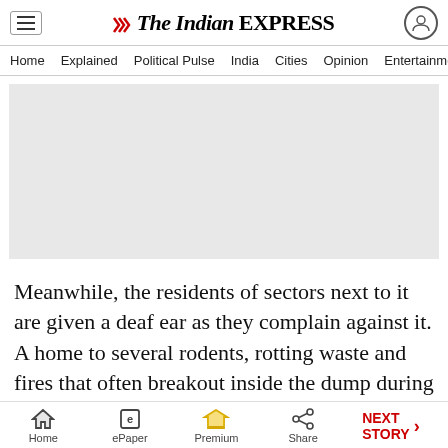The Indian EXPRESS — navigation header with Home, Explained, Political Pulse, India, Cities, Opinion, Entertainment
[Figure (other): Advertisement placeholder block (gray rectangle)]
Meanwhile, the residents of sectors next to it are given a deaf ear as they complain against it. A home to several rodents, rotting waste and fires that often breakout inside the dump during summers have failed to attract the attention of the
Home | ePaper | Premium | Share | NEXT STORY